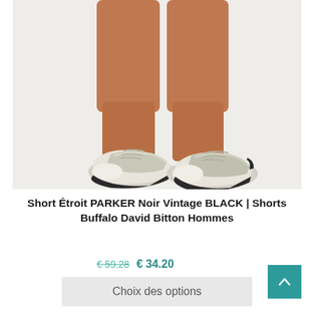[Figure (photo): Close-up photo of a man's legs wearing white/silver metallic sneakers with laces, on a light grey/white background. The photo shows from mid-thigh down.]
Short Étroit PARKER Noir Vintage BLACK | Shorts Buffalo David Bitton Hommes
€ 59.28  € 34.20
Choix des options